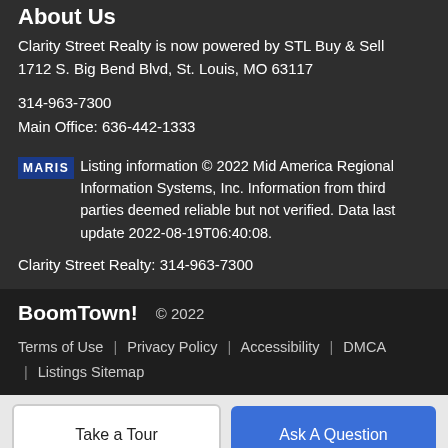About Us
Clarity Street Realty is now powered by STL Buy & Sell
1712 S. Big Bend Blvd, St. Louis, MO 63117
314-963-7300
Main Office: 636-442-1333
MARIS Listing information © 2022 Mid America Regional Information Systems, Inc. Information from third parties deemed reliable but not verified. Data last update 2022-08-19T06:40:08.
Clarity Street Realty: 314-963-7300
BoomTown! © 2022
Terms of Use | Privacy Policy | Accessibility | DMCA | Listings Sitemap
Take a Tour
Ask A Question